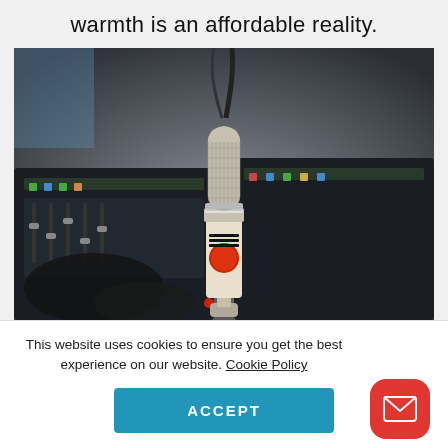warmth is an affordable reality.
[Figure (photo): A vintage-style large diaphragm condenser microphone with cream/white body and red logo badge, standing upright in front of an audio mixing console/interface with multiple channels and cables in the background.]
This website uses cookies to ensure you get the best experience on our website. Cookie Policy
ACCEPT